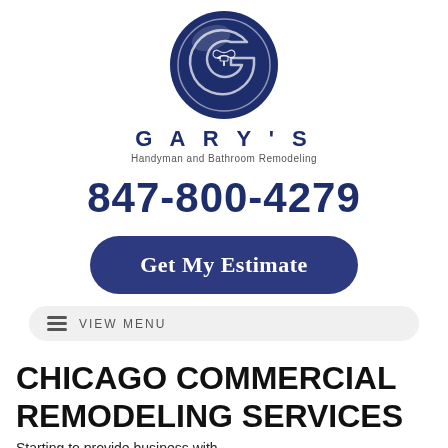[Figure (logo): Gary's Handyman and Bathroom Remodeling circular logo with dark navy blue background, letter G shape, infinity symbol and faucet icon inside]
GARY'S
Handyman and Bathroom Remodeling
847-800-4279
Get My Estimate
VIEW MENU
CHICAGO COMMERCIAL REMODELING SERVICES
Starting text about business with...